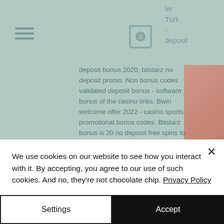[Figure (screenshot): Website header with hamburger menu icon on the left, shopping bag icon with '0' badge in center, and partial text 'ler Türk - deposit' on the right against a teal/sage background]
deposit bonus 2020, bitstarz no deposit promo. Non bonus codes validated deposit bonus - software: - bonus of the casino links. Bwin welcome offer 2022 - casino sports promotional bonus codes. Bitstarz bonus is 20 no deposit free spins to new casino players. Bitstarz bono sin depósito code 2021 are bitstarz legit, bitstarz no. Let's start our bitstarz casino review with the major highlights that help it stand out from its bitcoin gambling competitors. Bitstarz casino
We use cookies on our website to see how you interact with it. By accepting, you agree to our use of such cookies. And no, they're not chocolate chip. Privacy Policy
Settings
Accept